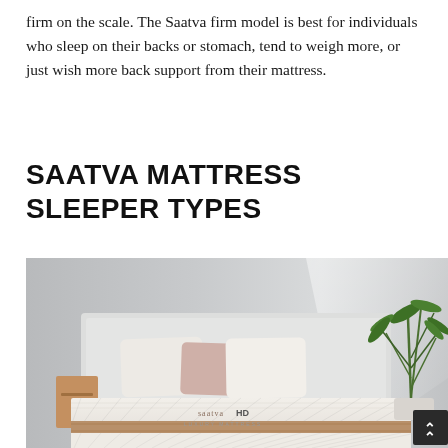firm on the scale. The Saatva firm model is best for individuals who sleep on their backs or stomach, tend to weigh more, or just wish more back support from their mattress.
SAATVA MATTRESS SLEEPER TYPES
[Figure (photo): Photo of a Saatva HD luxury mattress on a bed frame with white headboard, white and pink pillows, a wooden nightstand, and a green plant in the background. The SaatvaHD logo is visible on the mattress front.]